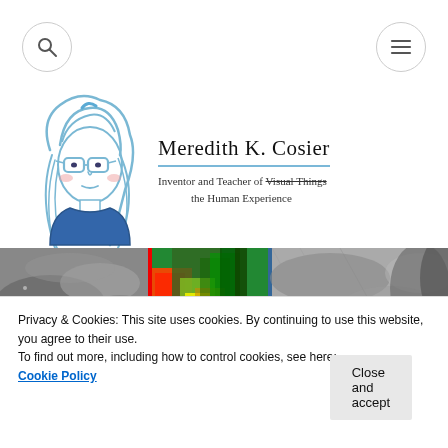[Figure (illustration): Circular search icon button with magnifying glass symbol]
[Figure (illustration): Circular menu icon button with three horizontal lines (hamburger menu)]
[Figure (illustration): Hand-drawn cartoon avatar of a woman with glasses and long wavy hair, wearing a blue shirt]
Meredith K. Cosier
Inventor and Teacher of Visual Things the Human Experience
[Figure (photo): Banner image showing three panels: grayscale smoky texture, colorful thermal/heat map with red, green and yellow colors, and grayscale textured surface]
Privacy & Cookies: This site uses cookies. By continuing to use this website, you agree to their use.
To find out more, including how to control cookies, see here:
Cookie Policy
Close and accept